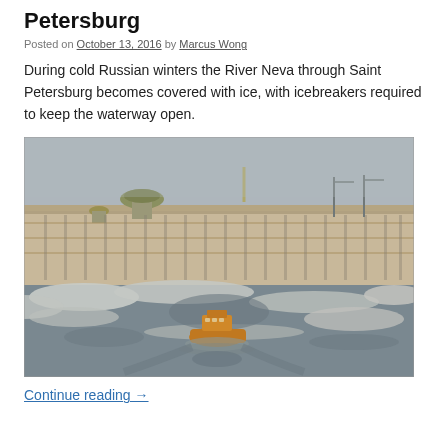Petersburg
Posted on October 13, 2016 by Marcus Wong
During cold Russian winters the River Neva through Saint Petersburg becomes covered with ice, with icebreakers required to keep the waterway open.
[Figure (photo): Photograph of an icebreaker vessel on the icy River Neva in Saint Petersburg, Russia, with the historic waterfront buildings and a dome (likely Saint Isaac's Cathedral) visible in the background under a grey winter sky.]
Continue reading →